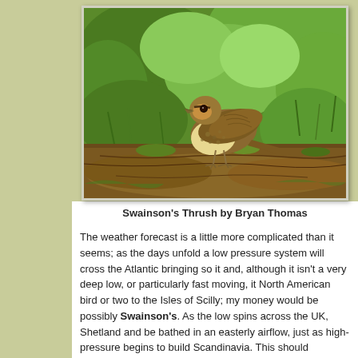[Figure (photo): A Swainson's Thrush bird perched on a mossy log or bark on the ground, surrounded by green grass and foliage. The bird has brown upperparts, spotted breast, and is photographed in a natural habitat setting. Photo by Bryan Thomas.]
Swainson's Thrush by Bryan Thomas
The weather forecast is a little more complicated than it seems; as the days unfold a low pressure system will cross the Atlantic bringing so it and, although it isn't a very deep low, or particularly fast moving, it North American bird or two to the Isles of Scilly; my money would be possibly Swainson's. As the low spins across the UK, Shetland and be bathed in an easterly airflow, just as high-pressure begins to build Scandinavia. This should definitely result in a fresh arrival of birds; a Shetland we are now quite late in the season, easterlies at this time the capacity to bring something very rare with them – Rufous-tailed browed Bunting sort of rare!